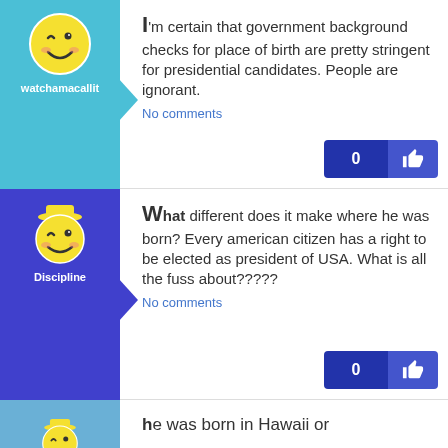[Figure (illustration): Teal avatar column with winking smiley face icon and username 'watchamacallit']
I'm certain that government background checks for place of birth are pretty stringent for presidential candidates. People are ignorant.
No comments
[Figure (illustration): Blue avatar column with winking smiley face icon wearing hat and username 'Discipline']
What different does it make where he was born? Every american citizen has a right to be elected as president of USA. What is all the fuss about?????
No comments
[Figure (illustration): Light blue avatar column with partial winking smiley face icon wearing hat (partially visible)]
he was born in Hawaii or